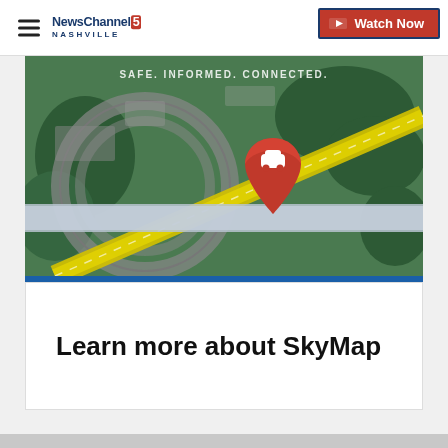NewsChannel 5 Nashville | Watch Now
[Figure (map): Aerial map view showing highway interchange with a red location pin icon featuring a car symbol. Text overlay reads 'SAFE. INFORMED. CONNECTED.']
Learn more about SkyMap